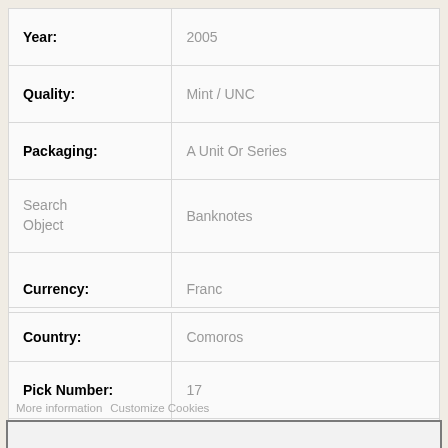| Field | Value |
| --- | --- |
| Year: | 2005 |
| Quality: | Mint / UNC |
| Packaging: | A Unit Or Series |
| Search Object | Banknotes |
| Currency: | Franc |
| Country: | Comoros |
| Pick Number: | 17 |
| new | Franc |
More information   Customize Cookies
REJECT ALL
I ACCEPT